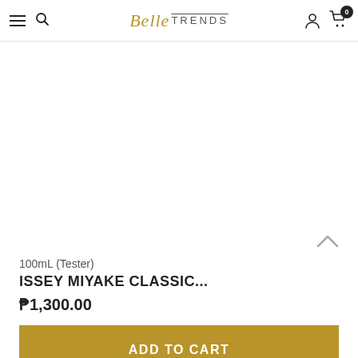Belle TRENDS — navigation header with hamburger menu, search, logo, user icon, cart (0)
100mL (Tester)
ISSEY MIYAKE CLASSIC...
₱1,300.00
ADD TO CART